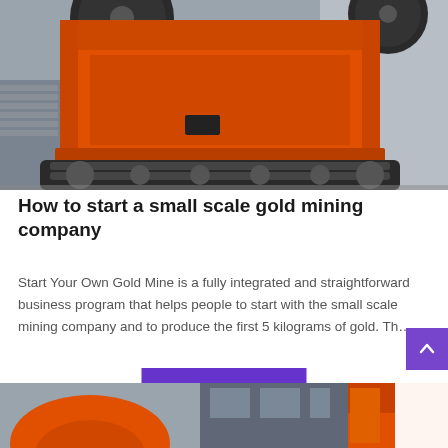[Figure (photo): Orange jaw crusher / industrial mining machine photographed in an industrial yard or warehouse, large orange metal body with wheels on top]
How to start a small scale gold mining company
Start Your Own Gold Mine is a fully integrated and straightforward business program that helps people to start with the small scale mining company and to produce the first 5 kilograms of gold. Th…
[Figure (photo): Bottom portion of industrial mining equipment in a factory/warehouse setting, showing orange machinery parts]